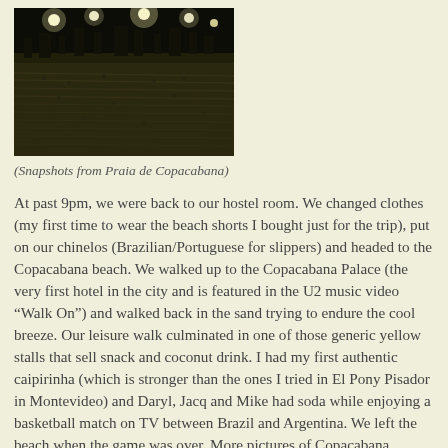[Figure (photo): Night photo of Praia de Copacabana beach, showing sand patterns in the foreground and bright stadium/city lights in the background]
(Snapshots from Praia de Copacabana)
At past 9pm, we were back to our hostel room. We changed clothes (my first time to wear the beach shorts I bought just for the trip), put on our chinelos (Brazilian/Portuguese for slippers) and headed to the Copacabana beach. We walked up to the Copacabana Palace (the very first hotel in the city and is featured in the U2 music video “Walk On”) and walked back in the sand trying to endure the cool breeze. Our leisure walk culminated in one of those generic yellow stalls that sell snack and coconut drink. I had my first authentic caipirinha (which is stronger than the ones I tried in El Pony Pisador in Montevideo) and Daryl, Jacq and Mike had soda while enjoying a basketball match on TV between Brazil and Argentina. We left the beach when the game was over. More pictures of Copacabana, Ipanema and Leblon beaches here.